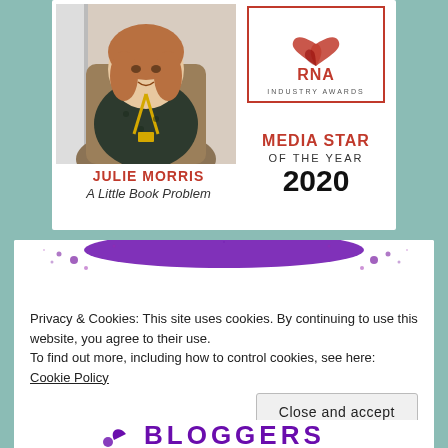[Figure (photo): Photo of Julie Morris seated in a chair, wearing a dark floral top and yellow lanyard]
JULIE MORRIS
A Little Book Problem
[Figure (logo): RNA Industry Awards logo — heart and leaf motif above text RNA INDUSTRY AWARDS in a red border box]
MEDIA STAR
OF THE YEAR
2020
[Figure (illustration): Purple arc/splatter decorative graphic at top of lower card]
Privacy & Cookies: This site uses cookies. By continuing to use this website, you agree to their use.
To find out more, including how to control cookies, see here: Cookie Policy
Close and accept
[Figure (illustration): Partial view of Bloggers logo at bottom, purple text on white background]